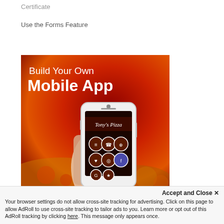Certificate
Use the Forms Feature
[Figure (illustration): Advertisement showing a hand holding a white smartphone displaying Tony's Pizza app on screen, with text 'Build Your Own Mobile App' on a dark red/orange gradient background]
Accept and Close ✕
Your browser settings do not allow cross-site tracking for advertising. Click on this page to allow AdRoll to use cross-site tracking to tailor ads to you. Learn more or opt out of this AdRoll tracking by clicking here. This message only appears once.